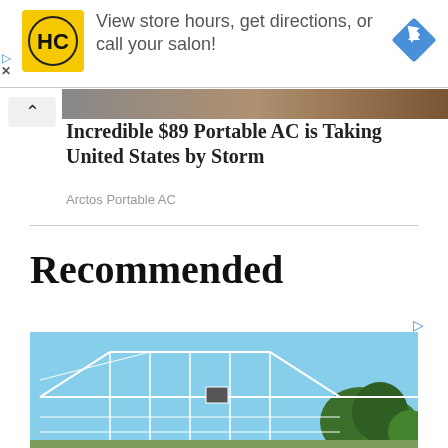[Figure (logo): HC (Hair Club) logo in yellow square, followed by ad text 'View store hours, get directions, or call your salon!' with a blue diamond navigation arrow icon on the right]
[Figure (other): Collapse/chevron up button on left; ad for 'Incredible $89 Portable AC is Taking United States by Storm' by Arctos Portable AC, with a dark banner image strip across the top]
Recommended
[Figure (photo): A greenhouse structure with white metal framing against a blue sky, with trees visible in the background]